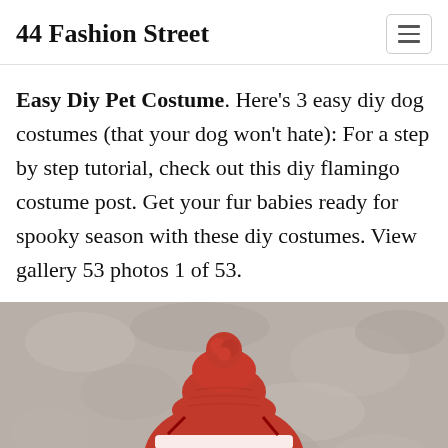44 Fashion Street
Easy Diy Pet Costume. Here's 3 easy diy dog costumes (that your dog won't hate): For a step by step tutorial, check out this diy flamingo costume post. Get your fur babies ready for spooky season with these diy costumes. View gallery 53 photos 1 of 53.
[Figure (photo): A dog wearing a red and white striped knit costume with a red pompom hat, photographed against a textured grey wall background.]